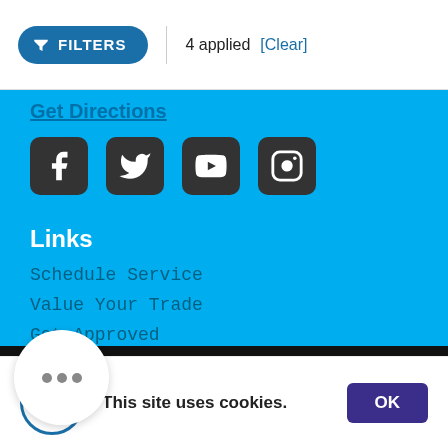FILTERS | 4 applied [Clear]
Get Directions
[Figure (infographic): Social media icons: Facebook, Twitter, YouTube, Instagram]
Links
Schedule Service
Value Your Trade
Get Approved
Test Drive
Service Coupons
[Figure (illustration): Chat bubble icon with three dots]
This site uses cookies. OK